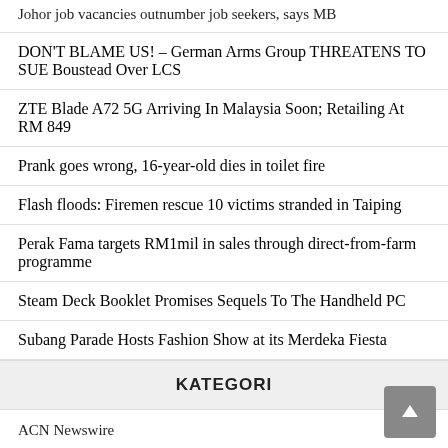Johor job vacancies outnumber job seekers, says MB
DON'T BLAME US! – German Arms Group THREATENS TO SUE Boustead Over LCS
ZTE Blade A72 5G Arriving In Malaysia Soon; Retailing At RM 849
Prank goes wrong, 16-year-old dies in toilet fire
Flash floods: Firemen rescue 10 victims stranded in Taiping
Perak Fama targets RM1mil in sales through direct-from-farm programme
Steam Deck Booklet Promises Sequels To The Handheld PC
Subang Parade Hosts Fashion Show at its Merdeka Fiesta
KATEGORI
ACN Newswire
Business